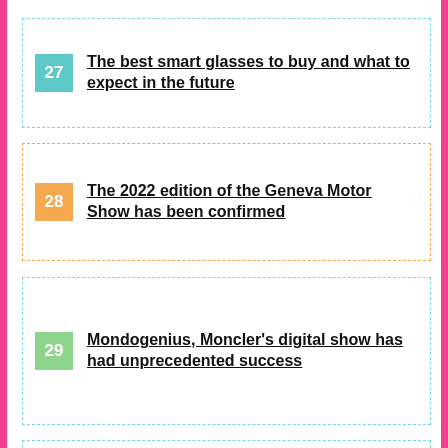27 The best smart glasses to buy and what to expect in the future
28 The 2022 edition of the Geneva Motor Show has been confirmed
29 Mondogenius, Moncler's digital show has had unprecedented success
30 Electronic Arts launches FIFA 22 and thinks about the future